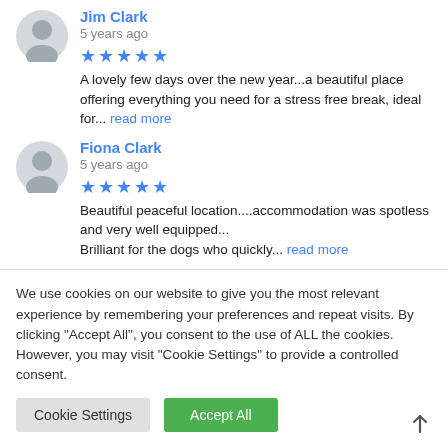Jim Clark
5 years ago
★★★★★ A lovely few days over the new year...a beautiful place offering everything you need for a stress free break, ideal for... read more
Fiona Clark
5 years ago
★★★★★ Beautiful peaceful location....accommodation was spotless and very well equipped...
Brilliant for the dogs who quickly... read more
We use cookies on our website to give you the most relevant experience by remembering your preferences and repeat visits. By clicking "Accept All", you consent to the use of ALL the cookies. However, you may visit "Cookie Settings" to provide a controlled consent.